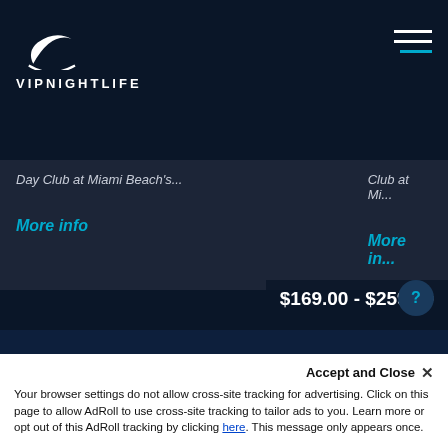[Figure (logo): VIPNightLife logo with crescent moon icon and VIPNIGHTLIFE text]
[Figure (infographic): Hamburger menu icon (three horizontal lines, teal accent)]
Day Club at Miami Beach's...
More info
Club at Mi...
More in...
ADVERTISE HERE WITH US
Get Your Venue + Events Noticed
CONTACT US →
$169.00 - $259.00
Accept and Close ✕
Your browser settings do not allow cross-site tracking for advertising. Click on this page to allow AdRoll to use cross-site tracking to tailor ads to you. Learn more or opt out of this AdRoll tracking by clicking here. This message only appears once.